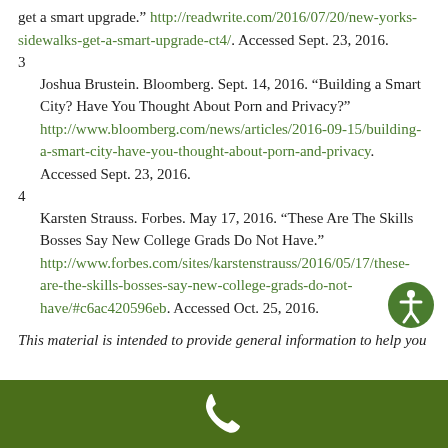get a smart upgrade.” http://readwrite.com/2016/07/20/new-yorks-sidewalks-get-a-smart-upgrade-ct4/. Accessed Sept. 23, 2016.
3  Joshua Brustein. Bloomberg. Sept. 14, 2016. “Building a Smart City? Have You Thought About Porn and Privacy?” http://www.bloomberg.com/news/articles/2016-09-15/building-a-smart-city-have-you-thought-about-porn-and-privacy. Accessed Sept. 23, 2016.
4  Karsten Strauss. Forbes. May 17, 2016. “These Are The Skills Bosses Say New College Grads Do Not Have.” http://www.forbes.com/sites/karstenstrauss/2016/05/17/these-are-the-skills-bosses-say-new-college-grads-do-not-have/#c6ac420596eb. Accessed Oct. 25, 2016.
This material is intended to provide general information to help you